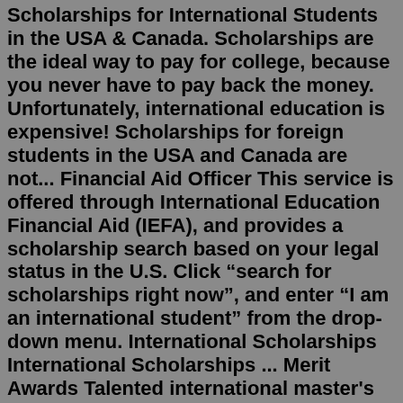Scholarships for International Students in the USA & Canada. Scholarships are the ideal way to pay for college, because you never have to pay back the money. Unfortunately, international education is expensive! Scholarships for foreign students in the USA and Canada are not... Financial Aid Officer This service is offered through International Education Financial Aid (IEFA), and provides a scholarship search based on your legal status in the U.S. Click “search for scholarships right now”, and enter “I am an international student” from the drop-down menu. International Scholarships International Scholarships ... Merit Awards Talented international master's and doctoral students may qualify for Graduate Merit Awards through their departments. These awards offer waivers ranging from twelve credits to full tuition each year. Stipends may also be available. Applicants should check directly with departments for further information. Fellowships & Assistantships01/08/2023. University of Washington Diversity Scholarship. $40,000. 01/15/2023. University